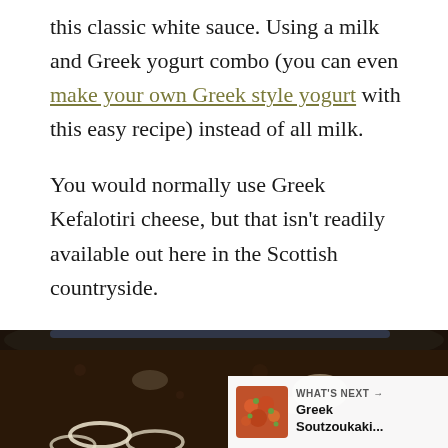this classic white sauce. Using a milk and Greek yogurt combo (you can even make your own Greek style yogurt with this easy recipe) instead of all milk.

You would normally use Greek Kefalotiri cheese, but that isn't readily available out here in the Scottish countryside.
[Figure (photo): A dark bowl containing a rich brown sauce with pasta (spaghetti) visible at the bottom. UI overlay shows a heart/save button (olive green circle) and a share button (white circle). A 'What's Next' bar at bottom right shows a thumbnail of Greek Soutzoukaki dish.]